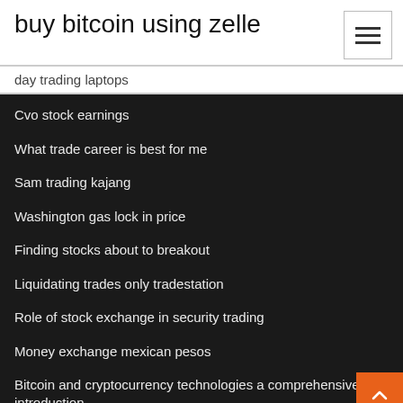buy bitcoin using zelle
day trading laptops
Cvo stock earnings
What trade career is best for me
Sam trading kajang
Washington gas lock in price
Finding stocks about to breakout
Liquidating trades only tradestation
Role of stock exchange in security trading
Money exchange mexican pesos
Bitcoin and cryptocurrency technologies a comprehensive introduction